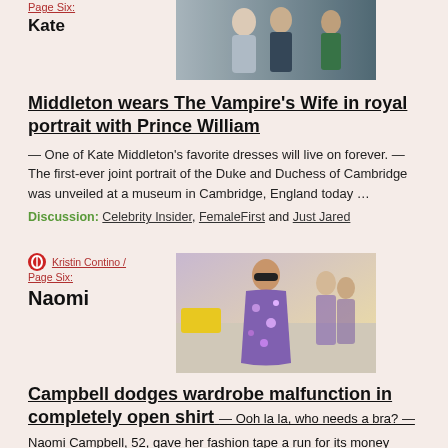Page Six: Kate
[Figure (photo): Photo of Kate Middleton and Prince William walking together]
Middleton wears The Vampire's Wife in royal portrait with Prince William
— One of Kate Middleton's favorite dresses will live on forever. — The first-ever joint portrait of the Duke and Duchess of Cambridge was unveiled at a museum in Cambridge, England today …
Discussion: Celebrity Insider, FemaleFirst and Just Jared
Kristin Contino / Page Six: Naomi
[Figure (photo): Photo of Naomi Campbell in purple floral open shirt at Paris street]
Campbell dodges wardrobe malfunction in completely open shirt
— Ooh la la, who needs a bra? — Naomi Campbell, 52, gave her fashion tape a run for its money when she stepped out at Paris